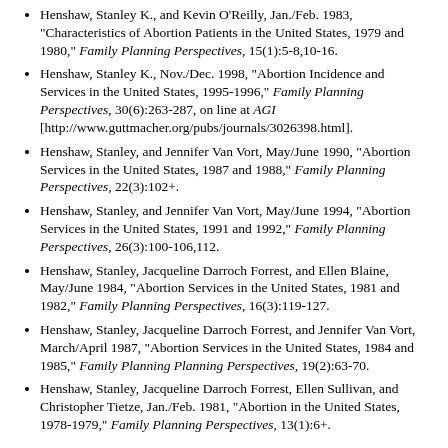Henshaw, Stanley K., and Kevin O'Reilly, Jan./Feb. 1983, "Characteristics of Abortion Patients in the United States, 1979 and 1980," Family Planning Perspectives, 15(1):5-8,10-16.
Henshaw, Stanley K., Nov./Dec. 1998, "Abortion Incidence and Services in the United States, 1995-1996," Family Planning Perspectives, 30(6):263-287, on line at AGI [http://www.guttmacher.org/pubs/journals/3026398.html].
Henshaw, Stanley, and Jennifer Van Vort, May/June 1990, "Abortion Services in the United States, 1987 and 1988," Family Planning Perspectives, 22(3):102+.
Henshaw, Stanley, and Jennifer Van Vort, May/June 1994, "Abortion Services in the United States, 1991 and 1992," Family Planning Perspectives, 26(3):100-106,112.
Henshaw, Stanley, Jacqueline Darroch Forrest, and Ellen Blaine, May/June 1984, "Abortion Services in the United States, 1981 and 1982," Family Planning Perspectives, 16(3):119-127.
Henshaw, Stanley, Jacqueline Darroch Forrest, and Jennifer Van Vort, March/April 1987, "Abortion Services in the United States, 1984 and 1985," Family Planning Perspectives, 19(2):63-70.
Henshaw, Stanley, Jacqueline Darroch Forrest, Ellen Sullivan, and Christopher Tietze, Jan./Feb. 1981, "Abortion in the United States, 1978-1979," Family Planning Perspectives, 13(1):6+.